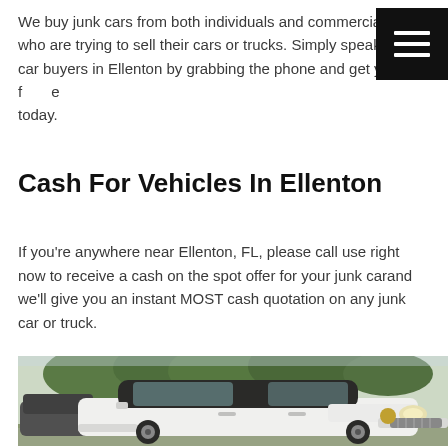We buy junk cars from both individuals and commercial acc who are trying to sell their cars or trucks. Simply speak to o car buyers in Ellenton by grabbing the phone and get your f e today.
Cash For Vehicles In Ellenton
If you're anywhere near Ellenton, FL, please call use right now to receive a cash on the spot offer for your junk carand we'll give you an instant MOST cash quotation on any junk car or truck.
[Figure (photo): White Buick sedan parked on a driveway with trees in the background, another dark vehicle partially visible to the left.]